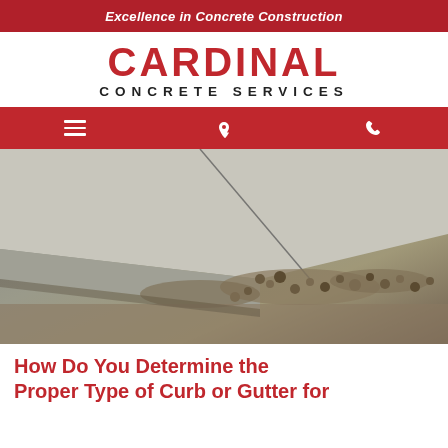Excellence in Concrete Construction
CARDINAL
CONCRETE SERVICES
[Figure (screenshot): Navigation bar with hamburger menu, phone icon, and location pin icon on red background]
[Figure (photo): Close-up photo of cracked concrete curb with loose gravel and dirt alongside it]
How Do You Determine the Proper Type of Curb or Gutter for